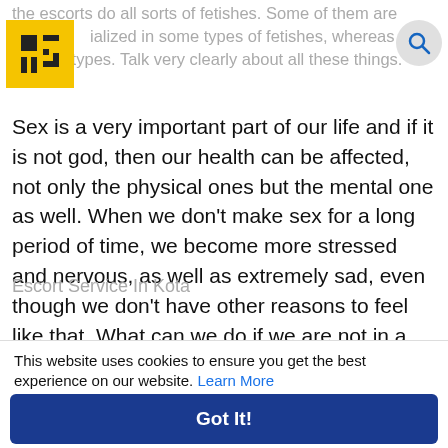the escorts do all sorts of fetishes. Some of them are specialized in some types of fetishes, whereas others in other types. Talk very clearly about all these things.
Sex is a very important part of our life and if it is not god, then our health can be affected, not only the physical ones but the mental one as well. When we don't make sex for a long period of time, we become more stressed and nervous, as well as extremely sad, even though we don't have other reasons to feel like that. What can we do if we are not in a relationship? How can we still have good sex? Well, the answer is very simple, we should definitely choose adult work services.
Escort Service In Kota
This website uses cookies to ensure you get the best experience on our website. Learn More
Got It!